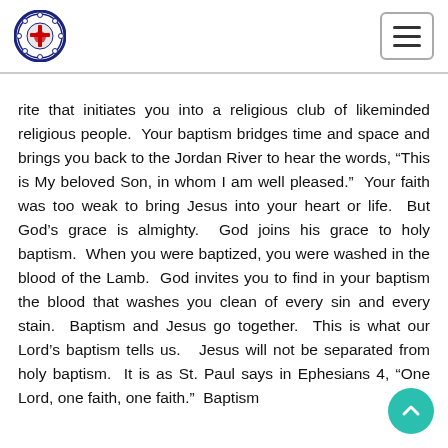[Lutheran logo] [Navigation menu button]
rite that initiates you into a religious club of likeminded religious people. Your baptism bridges time and space and brings you back to the Jordan River to hear the words, “This is My beloved Son, in whom I am well pleased.” Your faith was too weak to bring Jesus into your heart or life. But God’s grace is almighty. God joins his grace to holy baptism. When you were baptized, you were washed in the blood of the Lamb. God invites you to find in your baptism the blood that washes you clean of every sin and every stain. Baptism and Jesus go together. This is what our Lord’s baptism tells us. Jesus will not be separated from holy baptism. It is as St. Paul says in Ephesians 4, “One Lord, one faith, one faith.” Baptism